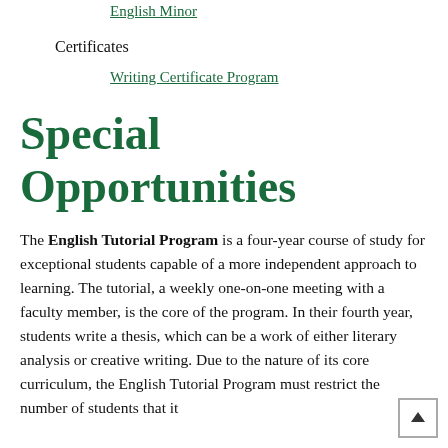English Minor
Certificates
Writing Certificate Program
Special Opportunities
The English Tutorial Program is a four-year course of study for exceptional students capable of a more independent approach to learning. The tutorial, a weekly one-on-one meeting with a faculty member, is the core of the program. In their fourth year, students write a thesis, which can be a work of either literary analysis or creative writing. Due to the nature of its core curriculum, the English Tutorial Program must restrict the number of students that it